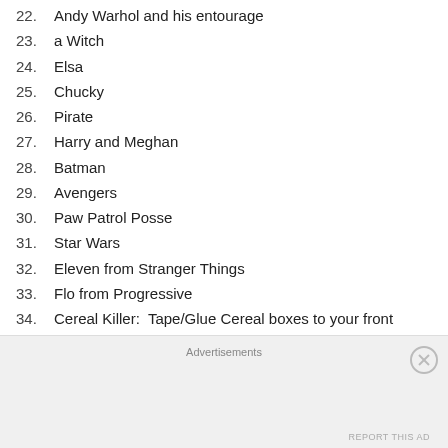22. Andy Warhol and his entourage
23. a Witch
24. Elsa
25. Chucky
26. Pirate
27. Harry and Meghan
28. Batman
29. Avengers
30. Paw Patrol Posse
31. Star Wars
32. Eleven from Stranger Things
33. Flo from Progressive
34. Cereal Killer:  Tape/Glue Cereal boxes to your front side and carry a big Silver (rubber) knife
Advertisements
REPORT THIS AD